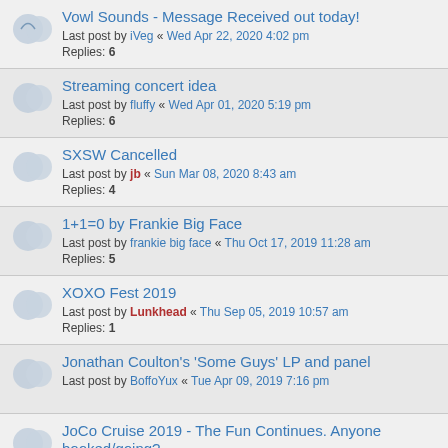Vowl Sounds - Message Received out today! Last post by iVeg « Wed Apr 22, 2020 4:02 pm Replies: 6
Streaming concert idea Last post by fluffy « Wed Apr 01, 2020 5:19 pm Replies: 6
SXSW Cancelled Last post by jb « Sun Mar 08, 2020 8:43 am Replies: 4
1+1=0 by Frankie Big Face Last post by frankie big face « Thu Oct 17, 2019 11:28 am Replies: 5
XOXO Fest 2019 Last post by Lunkhead « Thu Sep 05, 2019 10:57 am Replies: 1
Jonathan Coulton's 'Some Guys' LP and panel Last post by BoffoYux « Tue Apr 09, 2019 7:16 pm
JoCo Cruise 2019 - The Fun Continues. Anyone booked/going? Last post by BoffoYux « Mon Mar 25, 2019 2:39 pm Replies: 5
Cancebuellers/Mandibles tonight in Brooklyn